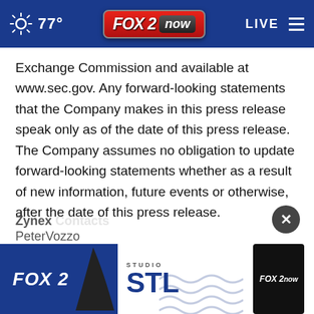[Figure (screenshot): FOX 2 Now website navigation bar showing sun icon, 77° temperature, FOX 2 now logo, LIVE label, and hamburger menu on blue background]
Exchange Commission and available at www.sec.gov. Any forward-looking statements that the Company makes in this press release speak only as of the date of this press release. The Company assumes no obligation to update forward-looking statements whether as a result of new information, future events or otherwise, after the date of this press release.
Zynex Contacts
PeterVozzo
[Figure (screenshot): FOX 2 Studio STL advertisement banner at bottom of page showing FOX 2 text, shark fin graphic, Studio STL text with wave graphics, and FOX 2 now small logo]